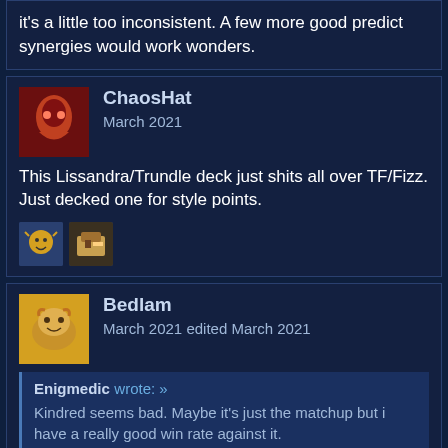it's a little too inconsistent. A few more good predict synergies would work wonders.
ChaosHat
March 2021
This Lissandra/Trundle deck just shits all over TF/Fizz. Just decked one for style points.
[Figure (illustration): Two small reaction emoji/avatar images]
Bedlam
March 2021 edited March 2021
Enigmedic wrote: »
Kindred seems bad. Maybe it's just the matchup but i have a really good win rate against it.
They are good but slow, comparable to Hemer in that you have to drop the champ and then have more cards to get the